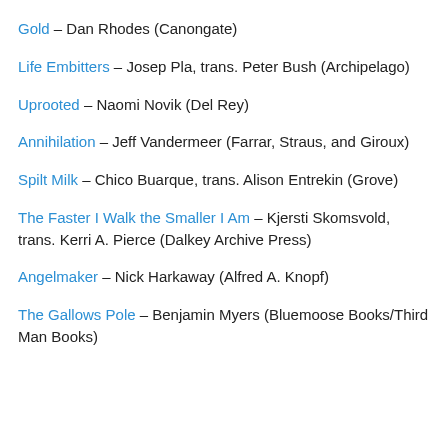Gold – Dan Rhodes (Canongate)
Life Embitters – Josep Pla, trans. Peter Bush (Archipelago)
Uprooted – Naomi Novik (Del Rey)
Annihilation – Jeff Vandermeer (Farrar, Straus, and Giroux)
Spilt Milk – Chico Buarque, trans. Alison Entrekin (Grove)
The Faster I Walk the Smaller I Am – Kjersti Skomsvold, trans. Kerri A. Pierce (Dalkey Archive Press)
Angelmaker – Nick Harkaway (Alfred A. Knopf)
The Gallows Pole – Benjamin Myers (Bluemoose Books/Third Man Books)